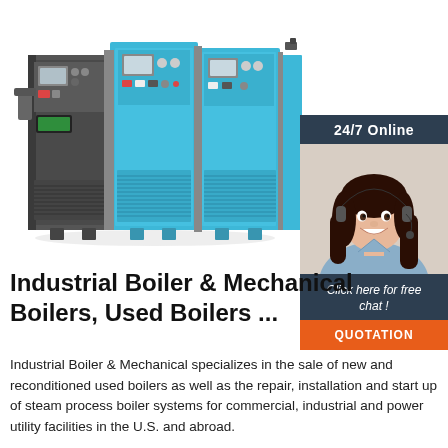[Figure (photo): Industrial electric boiler unit — three-panel blue and gray metal cabinet with control panels, gauges, switches and ventilation grilles at the bottom, photographed on white background.]
[Figure (photo): 24/7 Online chat widget showing a smiling woman wearing a headset microphone, with dark header reading '24/7 Online', dark footer reading 'Click here for free chat!', and an orange button labeled 'QUOTATION'.]
Industrial Boiler & Mechanical Boilers, Used Boilers ...
Industrial Boiler & Mechanical specializes in the sale of new and reconditioned used boilers as well as the repair, installation and start up of steam process boiler systems for commercial, industrial and power utility facilities in the U.S. and abroad.